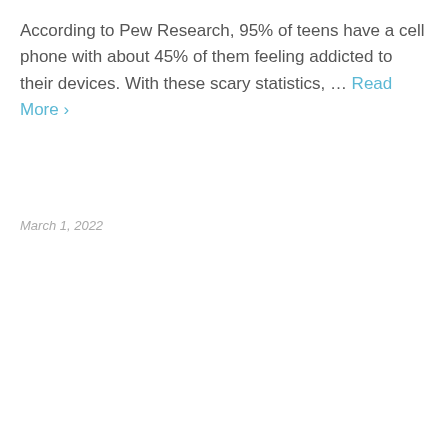According to Pew Research, 95% of teens have a cell phone with about 45% of them feeling addicted to their devices. With these scary statistics, … Read More ›
March 1, 2022